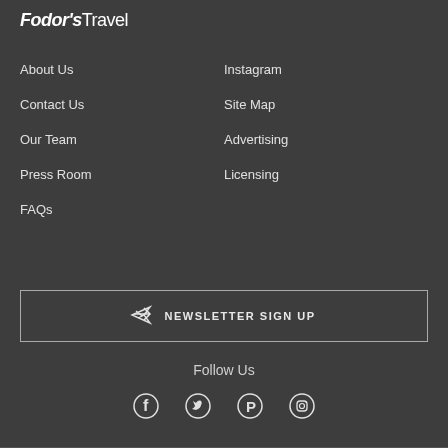[Figure (logo): Fodor's Travel logo in white text]
About Us
Instagram
Contact Us
Site Map
Our Team
Advertising
Press Room
Licensing
FAQs
NEWSLETTER SIGN UP
Follow Us
[Figure (infographic): Social media icons: Facebook, Twitter, Pinterest, Instagram]